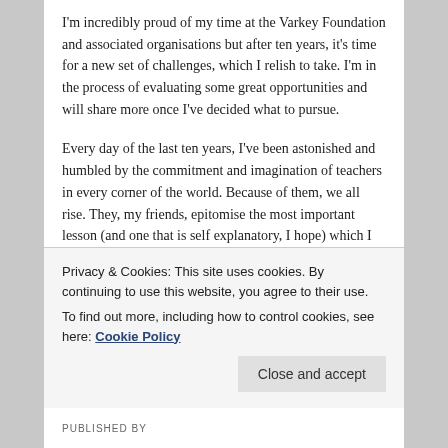I'm incredibly proud of my time at the Varkey Foundation and associated organisations but after ten years, it's time for a new set of challenges, which I relish to take. I'm in the process of evaluating some great opportunities and will share more once I've decided what to pursue.
Every day of the last ten years, I've been astonished and humbled by the commitment and imagination of teachers in every corner of the world. Because of them, we all rise. They, my friends, epitomise the most important lesson (and one that is self explanatory, I hope) which I have purposely left to the end:
11. BE A GIVER, NOT A TAKER. You are in-service of
Privacy & Cookies: This site uses cookies. By continuing to use this website, you agree to their use.
To find out more, including how to control cookies, see here: Cookie Policy
PUBLISHED BY